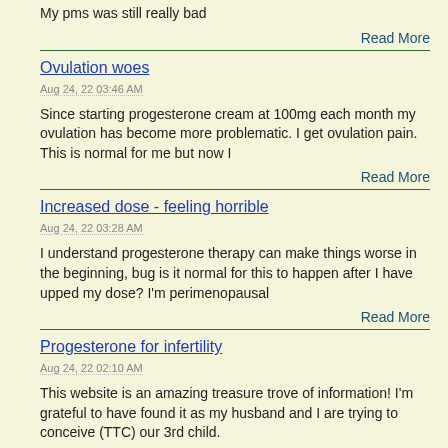My pms was still really bad
Read More
Ovulation woes
Aug 24, 22 03:46 AM
Since starting progesterone cream at 100mg each month my ovulation has become more problematic. I get ovulation pain. This is normal for me but now I
Read More
Increased dose - feeling horrible
Aug 24, 22 03:28 AM
I understand progesterone therapy can make things worse in the beginning, bug is it normal for this to happen after I have upped my dose? I'm perimenopausal
Read More
Progesterone for infertility
Aug 24, 22 02:10 AM
This website is an amazing treasure trove of information! I'm grateful to have found it as my husband and I are trying to conceive (TTC) our 3rd child.
Read More